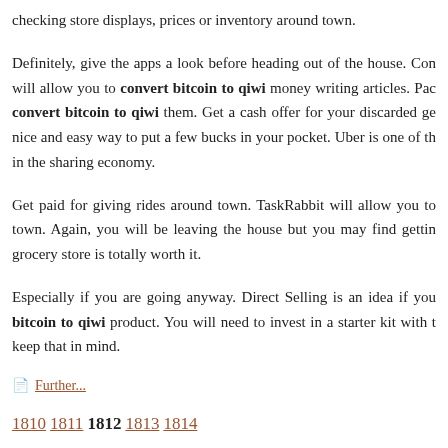checking store displays, prices or inventory around town.
Definitely, give the apps a look before heading out of the house. Con will allow you to convert bitcoin to qiwi money writing articles. Pac convert bitcoin to qiwi them. Get a cash offer for your discarded ge nice and easy way to put a few bucks in your pocket. Uber is one of th in the sharing economy.
Get paid for giving rides around town. TaskRabbit will allow you to town. Again, you will be leaving the house but you may find gettin grocery store is totally worth it.
Especially if you are going anyway. Direct Selling is an idea if you bitcoin to qiwi product. You will need to invest in a starter kit with t keep that in mind.
Further...
1810 1811 1812 1813 1814